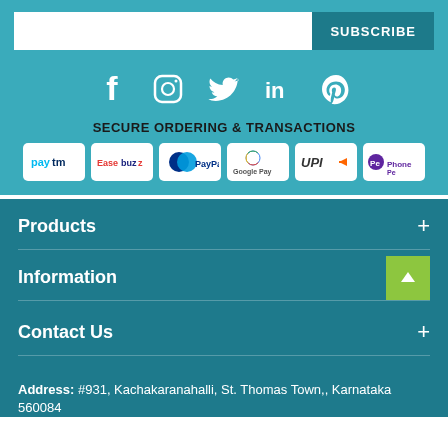[Figure (infographic): Subscribe email input bar with teal SUBSCRIBE button]
[Figure (infographic): Social media icons: Facebook, Instagram, Twitter, LinkedIn, Pinterest in white on teal background]
SECURE ORDERING & TRANSACTIONS
[Figure (infographic): Payment method logos: Paytm, Easebuzz, PayPal, Google Pay, UPI, PhonePe]
Products +
Information +
Contact Us +
Address: #931, Kachakaranahalli, St. Thomas Town,, Karnataka 560084